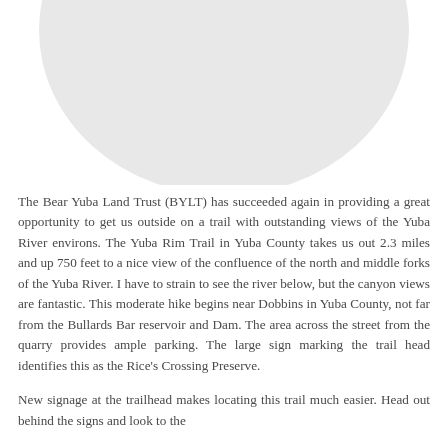[Figure (photo): A rounded/oval shaped light gray graphic element at the top of the page, likely a photo placeholder or cropped image showing white/light gray tones.]
The Bear Yuba Land Trust (BYLT) has succeeded again in providing a great opportunity to get us outside on a trail with outstanding views of the Yuba River environs. The Yuba Rim Trail in Yuba County takes us out 2.3 miles and up 750 feet to a nice view of the confluence of the north and middle forks of the Yuba River. I have to strain to see the river below, but the canyon views are fantastic. This moderate hike begins near Dobbins in Yuba County, not far from the Bullards Bar reservoir and Dam. The area across the street from the quarry provides ample parking. The large sign marking the trail head identifies this as the Rice's Crossing Preserve.
New signage at the trailhead makes locating this trail much easier. Head out behind the signs and look to the